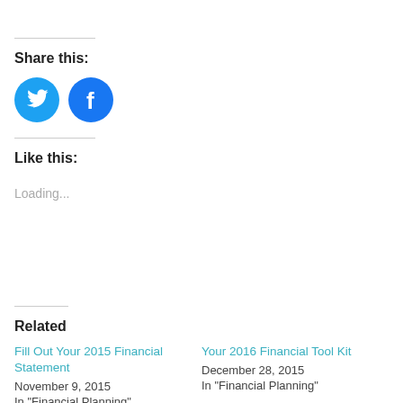Share this:
[Figure (illustration): Twitter and Facebook social media share buttons as circular blue icons]
Like this:
Loading...
Related
Fill Out Your 2015 Financial Statement
November 9, 2015
In "Financial Planning"
Your 2016 Financial Tool Kit
December 28, 2015
In "Financial Planning"